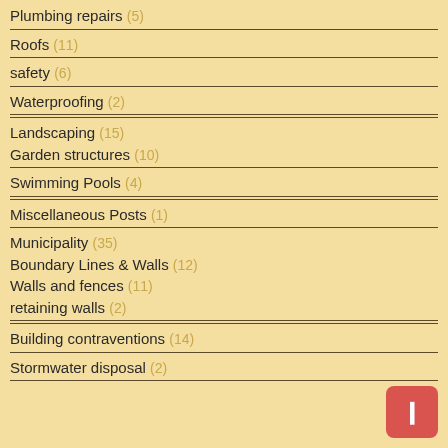Plumbing repairs (5)
Roofs (11)
safety (6)
Waterproofing (2)
Landscaping (15)
Garden structures (10)
Swimming Pools (4)
Miscellaneous Posts (1)
Municipality (35)
Boundary Lines & Walls (12)
Walls and fences (11)
retaining walls (2)
Building contraventions (14)
Stormwater disposal (2)